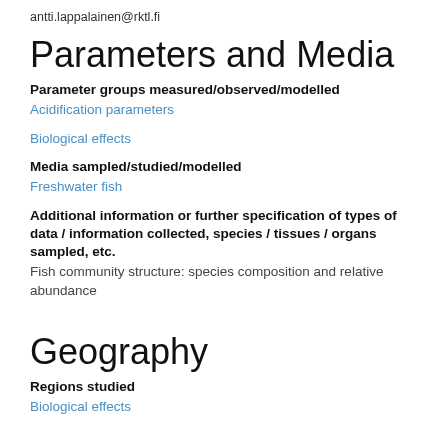antti.lappalainen@rktl.fi
Parameters and Media
Parameter groups measured/observed/modelled
Acidification parameters
Biological effects
Media sampled/studied/modelled
Freshwater fish
Additional information or further specification of types of data / information collected, species / tissues / organs sampled, etc.
Fish community structure: species composition and relative abundance
Geography
Regions studied
Biological effects